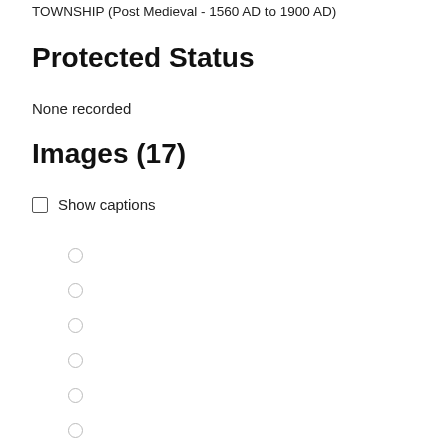TOWNSHIP (Post Medieval - 1560 AD to 1900 AD)
Protected Status
None recorded
Images (17)
☐ Show captions